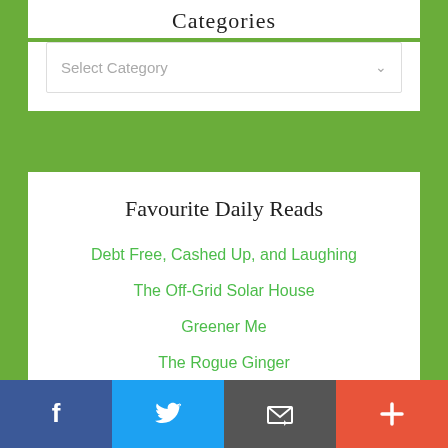Categories
[Figure (screenshot): Dropdown selector widget with placeholder text 'Select Category' and a down arrow]
Favourite Daily Reads
Debt Free, Cashed Up, and Laughing
The Off-Grid Solar House
Greener Me
The Rogue Ginger
Facebook | Twitter | Email | Plus